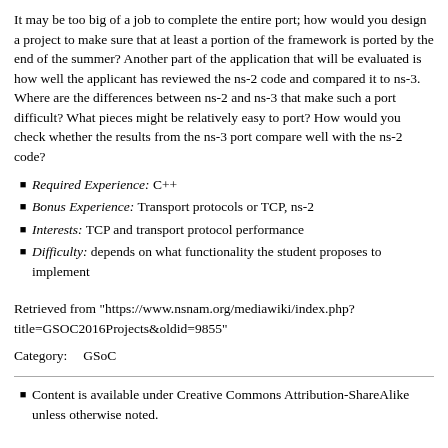It may be too big of a job to complete the entire port; how would you design a project to make sure that at least a portion of the framework is ported by the end of the summer? Another part of the application that will be evaluated is how well the applicant has reviewed the ns-2 code and compared it to ns-3. Where are the differences between ns-2 and ns-3 that make such a port difficult? What pieces might be relatively easy to port? How would you check whether the results from the ns-3 port compare well with the ns-2 code?
Required Experience: C++
Bonus Experience: Transport protocols or TCP, ns-2
Interests: TCP and transport protocol performance
Difficulty: depends on what functionality the student proposes to implement
Retrieved from "https://www.nsnam.org/mediawiki/index.php?title=GSOC2016Projects&oldid=9855"
Category:  GSoC
Content is available under Creative Commons Attribution-ShareAlike unless otherwise noted.